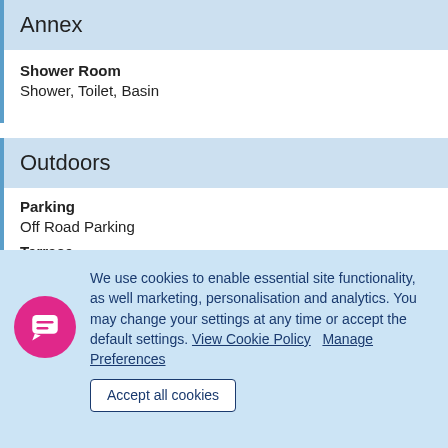Annex
Shower Room
Shower, Toilet, Basin
Outdoors
Parking
Off Road Parking
Terrace
We use cookies to enable essential site functionality, as well marketing, personalisation and analytics. You may change your settings at any time or accept the default settings. View Cookie Policy   Manage Preferences
Accept all cookies